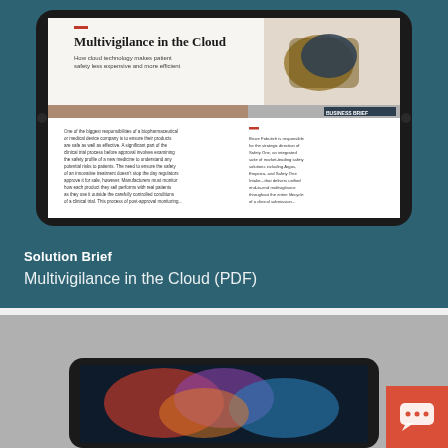[Figure (screenshot): iPad tablet showing a document titled 'Multivigilance in the Cloud' with subtitle 'How cloud technology makes patient safety less expensive and more efficient'. The document appears to be a business brief with two columns of text and an image of a hand.]
Solution Brief
Multivigilance in the Cloud (PDF)
[Figure (screenshot): Partial view of a second iPad/tablet on a gray background, partially visible at the bottom of the page. An orange chat bubble icon is visible in the bottom right corner.]